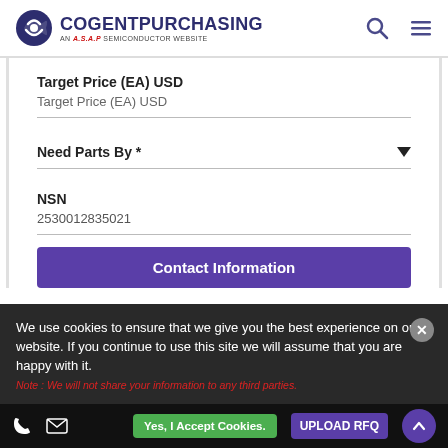COGENTPURCHASING AN A.S.A.P SEMICONDUCTOR WEBSITE
Target Price (EA) USD
Target Price (EA) USD
Need Parts By *
NSN
2530012835021
Contact Information
We use cookies to ensure that we give you the best experience on our website. If you continue to use this site we will assume that you are happy with it.
Note : We will not share your information to any third parties.
Yes, I Accept Cookies.
UPLOAD RFQ